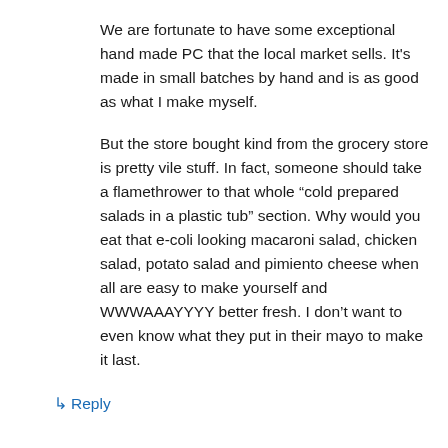We are fortunate to have some exceptional hand made PC that the local market sells. It's made in small batches by hand and is as good as what I make myself.
But the store bought kind from the grocery store is pretty vile stuff. In fact, someone should take a flamethrower to that whole “cold prepared salads in a plastic tub” section. Why would you eat that e-coli looking macaroni salad, chicken salad, potato salad and pimiento cheese when all are easy to make yourself and WWWAAAYYYY better fresh. I don’t want to even know what they put in their mayo to make it last.
↳ Reply